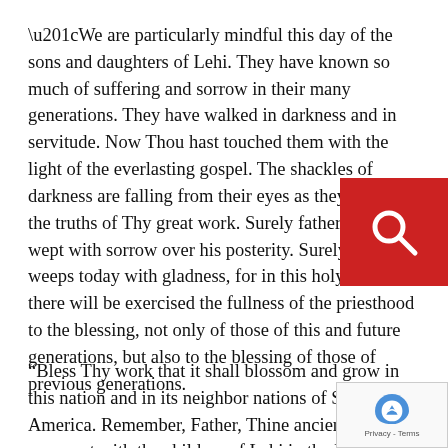“We are particularly mindful this day of the sons and daughters of Lehi. They have known so much of suffering and sorrow in their many generations. They have walked in darkness and in servitude. Now Thou hast touched them with the light of the everlasting gospel. The shackles of darkness are falling from their eyes as they embrace the truths of Thy great work. Surely father Lehi has wept with sorrow over his posterity. Surely he weeps today with gladness, for in this holy house there will be exercised the fullness of the priesthood to the blessing, not only of those of this and future generations, but also to the blessing of those of previous generations.
“Bless Thy work that it shall blossom and grow in this nation and in its neighbor nations of South America. Remember, Father, Thine ancient covenant with the children of Lehi, that in the latter days Thou wouldst favor them and bring to them